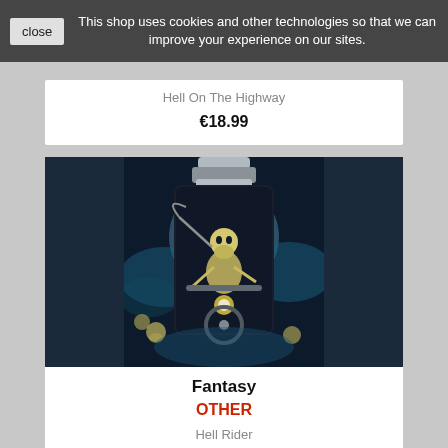This shop uses cookies and other technologies so that we can improve your experience on our sites.
Hell On The Highway
€18.99
[Figure (photo): A hip flask with a fantasy artwork showing a skeleton grim reaper riding a motorcycle under a full moon with blue smoke and skulls in the background]
Fantasy
OTHER
Hell Rider
€14.99